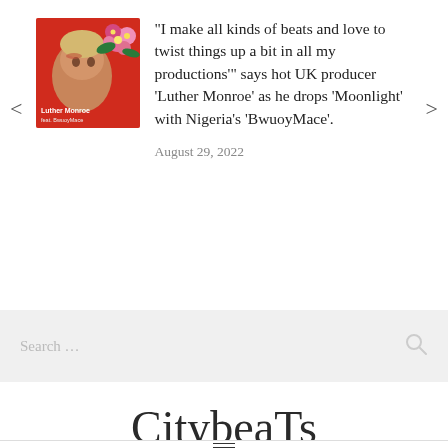[Figure (illustration): Album cover art for Luther Monroe featuring a person with short blonde hair against a red floral background with pink flowers]
“I make all kinds of beats and love to twist things up a bit in all my productions’’ says hot UK producer ‘Luther Monroe’ as he drops ‘Moonlight’ with Nigeria’s ‘BwuoyMace’.
August 29, 2022
Search …
CitybeaTs
Global Music News